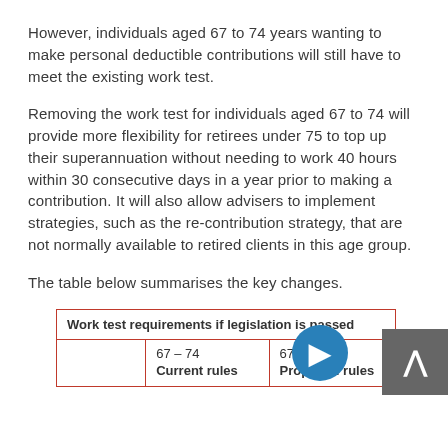However, individuals aged 67 to 74 years wanting to make personal deductible contributions will still have to meet the existing work test.
Removing the work test for individuals aged 67 to 74 will provide more flexibility for retirees under 75 to top up their superannuation without needing to work 40 hours within 30 consecutive days in a year prior to making a contribution. It will also allow advisers to implement strategies, such as the re-contribution strategy, that are not normally available to retired clients in this age group.
The table below summarises the key changes.
|  | 67 – 74 Current rules | 67 – 74 Proposed rules |
| --- | --- | --- |